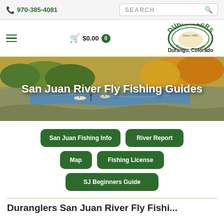970-385-4081  SEARCH
[Figure (logo): Duranglers logo with text 'Durango, Colorado' and 'Since 1981' badge, cart icon showing $0.00]
[Figure (photo): San Juan River fly fishing scene with river, boats, and autumn foliage]
San Juan River Fly Fishing Guides
San Juan Fishing Info
River Report
Map
Fishing License
SJ Beginners Guide
Duranglers San Juan River Fly Fishi...